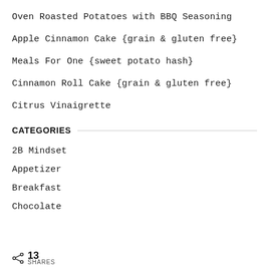Oven Roasted Potatoes with BBQ Seasoning
Apple Cinnamon Cake {grain & gluten free}
Meals For One {sweet potato hash}
Cinnamon Roll Cake {grain & gluten free}
Citrus Vinaigrette
CATEGORIES
2B Mindset
Appetizer
Breakfast
Chocolate
13 SHARES